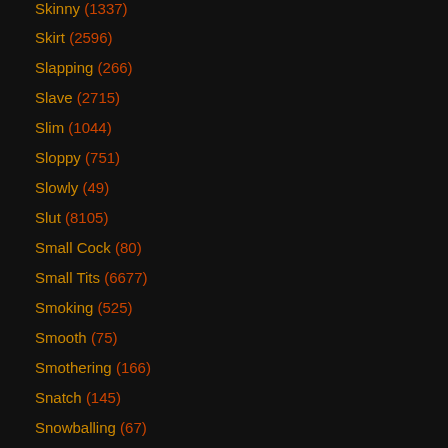Skinny (1337)
Skirt (2596)
Slapping (266)
Slave (2715)
Slim (1044)
Sloppy (751)
Slowly (49)
Slut (8105)
Small Cock (80)
Small Tits (6677)
Smoking (525)
Smooth (75)
Smothering (166)
Snatch (145)
Snowballing (67)
Soapy (55)